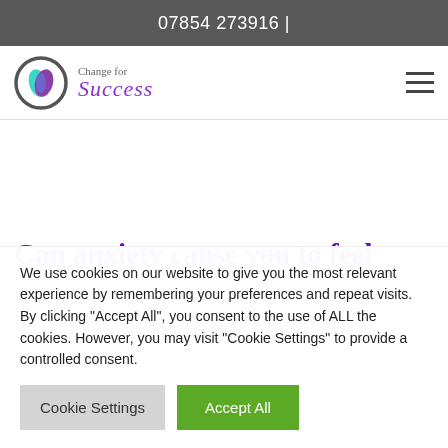07854 273916 |
[Figure (logo): Change for Success logo with circular C icon and cursive brand name]
Can anxiety cause you to feel
We use cookies on our website to give you the most relevant experience by remembering your preferences and repeat visits. By clicking "Accept All", you consent to the use of ALL the cookies. However, you may visit "Cookie Settings" to provide a controlled consent.
Cookie Settings | Accept All